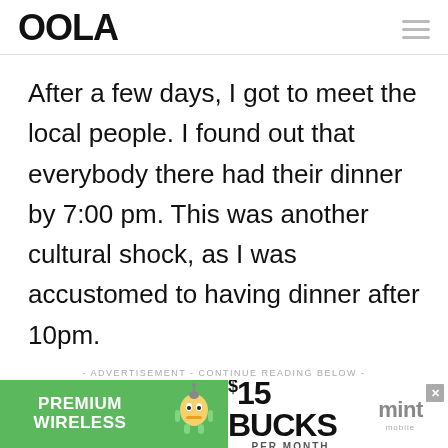OOLA
After a few days, I got to meet the local people. I found out that everybody there had their dinner by 7:00 pm. This was another cultural shock, as I was accustomed to having dinner after 10pm.
- ADVERTISEMENT - CONTINUE READING BELOW -
[Figure (infographic): Mint Mobile advertisement banner: PREMIUM WIRELESS, $15 BUCKS PER MONTH, mint mobile logo, with cartoon mascot character]